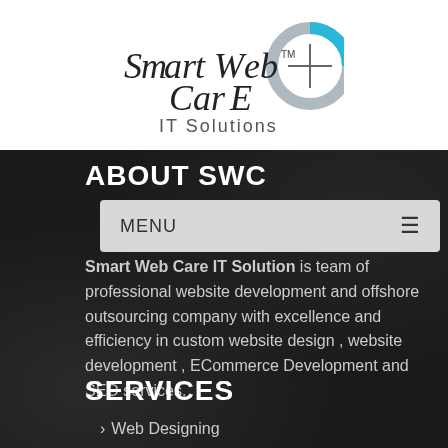[Figure (logo): Smart Web Care IT Solutions logo with circular blue/grey icon and stylized text]
ABOUT SWC
MENU
Smart Web Care IT Solution is team of professional website development and offshore outsourcing company with excellence and efficiency in custom website design , website development , ECommerce Development and SEO services.
SERVICES
Web Designing